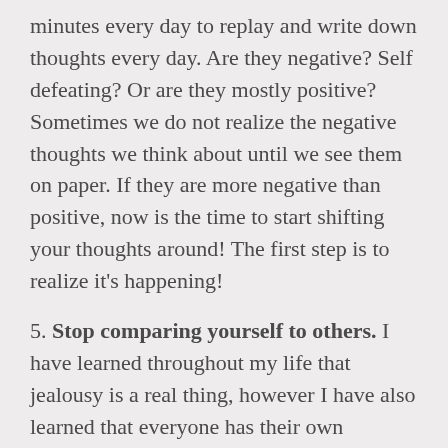minutes every day to replay and write down thoughts every day. Are they negative? Self defeating? Or are they mostly positive? Sometimes we do not realize the negative thoughts we think about until we see them on paper. If they are more negative than positive, now is the time to start shifting your thoughts around! The first step is to realize it's happening!
5. Stop comparing yourself to others. I have learned throughout my life that jealousy is a real thing, however I have also learned that everyone has their own struggles, hardships and insecurities they deal with. My friends, family, my clients have all shared with me that they